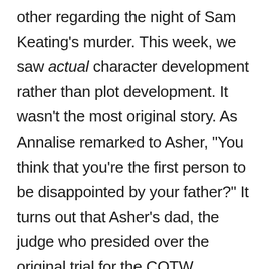other regarding the night of Sam Keating's murder. This week, we saw actual character development rather than plot development. It wasn't the most original story. As Annalise remarked to Asher, “You think that you’re the first person to be disappointed by your father?” It turns out that Asher’s dad, the judge who presided over the original trial for the COTW, suppressed an accusation that one of the key witnesses perjured themselves to get a conviction, and then was promoted for taking that inaction. Asher’s confrontation with his father was a pretty powerful scene. It was well